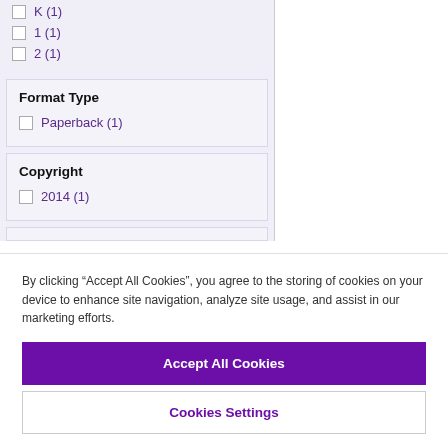1 (1)
2 (1)
Format Type
Paperback (1)
Copyright
2014 (1)
By clicking “Accept All Cookies”, you agree to the storing of cookies on your device to enhance site navigation, analyze site usage, and assist in our marketing efforts.
Accept All Cookies
Cookies Settings